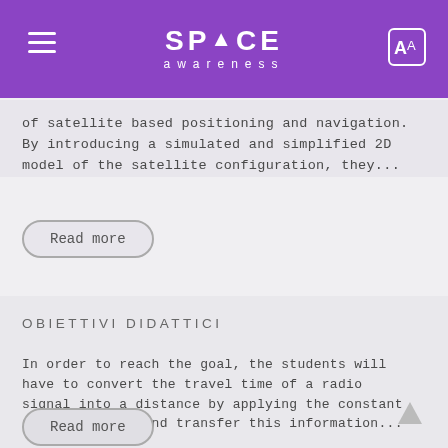SPACE awareness
of satellite based positioning and navigation. By introducing a simulated and simplified 2D model of the satellite configuration, they...
Read more
OBIETTIVI DIDATTICI
In order to reach the goal, the students will have to convert the travel time of a radio signal into a distance by applying the constant speed of light and transfer this information...
Read more